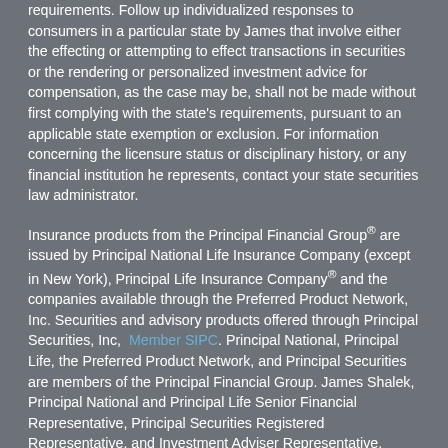requirements. Follow up individualized responses to consumers in a particular state by James that involve either the effecting or attempting to effect transactions in securities or the rendering or personalized investment advice for compensation, as the case may be, shall not be made without first complying with the state's requirements, pursuant to an applicable state exemption or exclusion. For information concerning the licensure status or disciplinary history, or any financial institution he represents, contact your state securities law administrator.
Insurance products from the Principal Financial Group® are issued by Principal National Life Insurance Company (except in New York), Principal Life Insurance Company® and the companies available through the Preferred Product Network, Inc. Securities and advisory products offered through Principal Securities, Inc, Member SIPC. Principal National, Principal Life, the Preferred Product Network, and Principal Securities are members of the Principal Financial Group. James Shalek, Principal National and Principal Life Senior Financial Representative, Principal Securities Registered Representative, and Investment Adviser Representative.